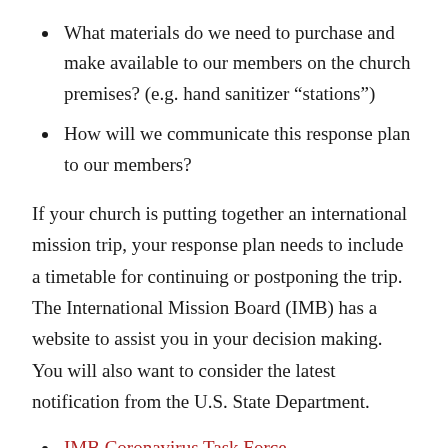What materials do we need to purchase and make available to our members on the church premises? (e.g. hand sanitizer “stations”)
How will we communicate this response plan to our members?
If your church is putting together an international mission trip, your response plan needs to include a timetable for continuing or postponing the trip. The International Mission Board (IMB) has a website to assist you in your decision making. You will also want to consider the latest notification from the U.S. State Department.
IMB Coronavirus Task Force
U.S. Department of State